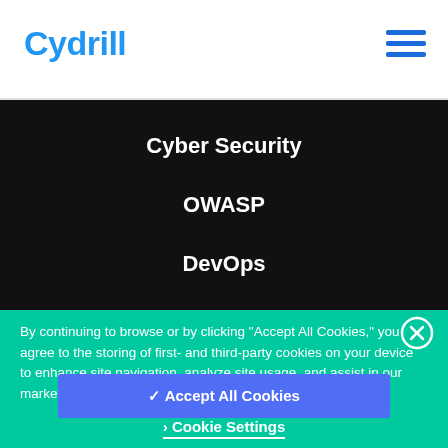Cydrill
Cyber Security
OWASP
DevOps
By continuing to browse or by clicking "Accept All Cookies," you agree to the storing of first- and third-party cookies on your device to enhance site navigation, analyze site usage, and assist in our marketing efforts. Privacy Policy
✓ Accept All Cookies
› Cookie Settings